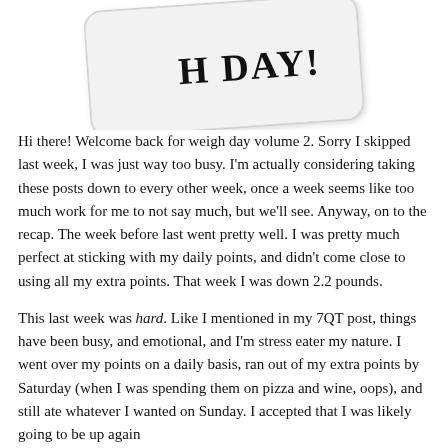[Figure (photo): Partial image of a tag or sign with text 'H DAY!' visible, rotated slightly, with a white/gray card-like background]
Hi there!  Welcome back for weigh day volume 2.  Sorry I skipped last week, I was just way too busy.  I'm actually considering taking these posts down to every other week, once a week seems like too much work for me to not say much, but we'll see.  Anyway, on to the recap.  The week before last went pretty well.  I was pretty much perfect at sticking with my daily points, and didn't come close to using all my extra points.  That week I was down 2.2 pounds.
This last week was hard. Like I mentioned in my 7QT post, things have been busy, and emotional, and I'm stress eater my nature.  I went over my points on a daily basis, ran out of my extra points by Saturday (when I was spending them on pizza and wine, oops), and still ate whatever I wanted on Sunday.  I accepted that I was likely going to be up again